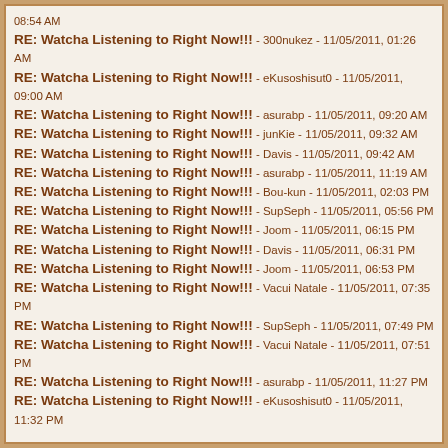RE: Watcha Listening to Right Now!!! - 300nukez - 11/05/2011, 01:26 AM
RE: Watcha Listening to Right Now!!! - eKusoshisut0 - 11/05/2011, 09:00 AM
RE: Watcha Listening to Right Now!!! - asurabp - 11/05/2011, 09:20 AM
RE: Watcha Listening to Right Now!!! - junKie - 11/05/2011, 09:32 AM
RE: Watcha Listening to Right Now!!! - Davis - 11/05/2011, 09:42 AM
RE: Watcha Listening to Right Now!!! - asurabp - 11/05/2011, 11:19 AM
RE: Watcha Listening to Right Now!!! - Bou-kun - 11/05/2011, 02:03 PM
RE: Watcha Listening to Right Now!!! - SupSeph - 11/05/2011, 05:56 PM
RE: Watcha Listening to Right Now!!! - Joom - 11/05/2011, 06:15 PM
RE: Watcha Listening to Right Now!!! - Davis - 11/05/2011, 06:31 PM
RE: Watcha Listening to Right Now!!! - Joom - 11/05/2011, 06:53 PM
RE: Watcha Listening to Right Now!!! - Vacui Natale - 11/05/2011, 07:35 PM
RE: Watcha Listening to Right Now!!! - SupSeph - 11/05/2011, 07:49 PM
RE: Watcha Listening to Right Now!!! - Vacui Natale - 11/05/2011, 07:51 PM
RE: Watcha Listening to Right Now!!! - asurabp - 11/05/2011, 11:27 PM
RE: Watcha Listening to Right Now!!! - eKusoshisut0 - 11/05/2011, 11:32 PM